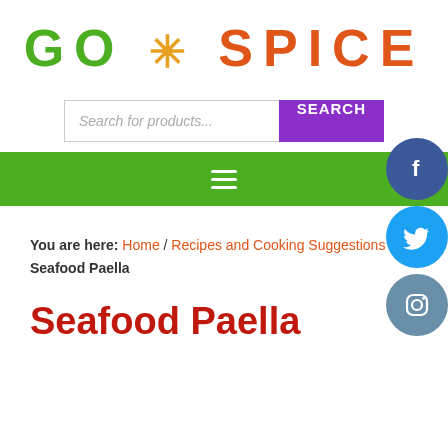GO * SPICE
[Figure (screenshot): Search bar with text 'Search for products' and a purple SEARCH button]
[Figure (screenshot): Green navigation bar with hamburger menu icon]
[Figure (screenshot): Social media icons: Facebook (dark blue circle), Twitter (light blue circle), Instagram (blue-grey circle)]
You are here: Home / Recipes and Cooking Suggestions / Seafood Paella
Seafood Paella